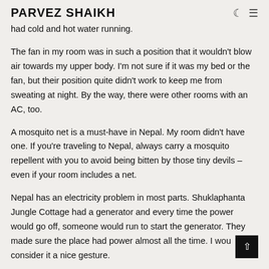PARVEZ SHAIKH
had cold and hot water running.
The fan in my room was in such a position that it wouldn't blow air towards my upper body. I'm not sure if it was my bed or the fan, but their position quite didn't work to keep me from sweating at night. By the way, there were other rooms with an AC, too.
A mosquito net is a must-have in Nepal. My room didn't have one. If you're traveling to Nepal, always carry a mosquito repellent with you to avoid being bitten by those tiny devils – even if your room includes a net.
Nepal has an electricity problem in most parts. Shuklaphanta Jungle Cottage had a generator and every time the power would go off, someone would run to start the generator. They made sure the place had power almost all the time. I wou consider it a nice gesture.